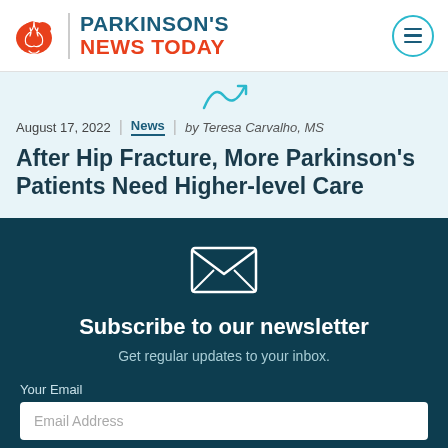PARKINSON'S NEWS TODAY
[Figure (illustration): Decorative swoosh/wave graphic in teal]
August 17, 2022 | News | by Teresa Carvalho, MS
After Hip Fracture, More Parkinson's Patients Need Higher-level Care
Subscribe to our newsletter
Get regular updates to your inbox.
Your Email